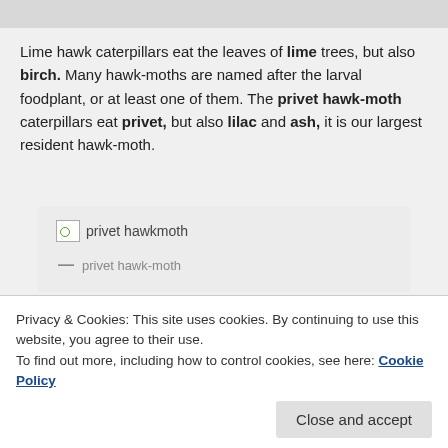[Figure (photo): Gray image area at top of page (partially visible)]
Lime hawk caterpillars eat the leaves of lime trees, but also birch. Many hawk-moths are named after the larval foodplant, or at least one of them. The privet hawk-moth caterpillars eat privet, but also lilac and ash, it is our largest resident hawk-moth.
[Figure (photo): Broken image placeholder labeled 'privet hawkmoth' inside a gray box]
— privet hawk-moth
Other moths caught were buff-tip, heart and dart, treble
Privacy & Cookies: This site uses cookies. By continuing to use this website, you agree to their use.
To find out more, including how to control cookies, see here: Cookie Policy